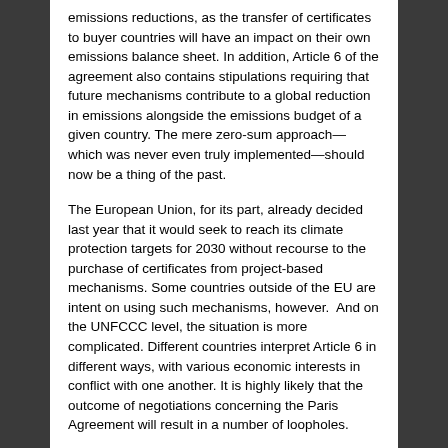emissions reductions, as the transfer of certificates to buyer countries will have an impact on their own emissions balance sheet. In addition, Article 6 of the agreement also contains stipulations requiring that future mechanisms contribute to a global reduction in emissions alongside the emissions budget of a given country. The mere zero-sum approach—which was never even truly implemented—should now be a thing of the past.
The European Union, for its part, already decided last year that it would seek to reach its climate protection targets for 2030 without recourse to the purchase of certificates from project-based mechanisms. Some countries outside of the EU are intent on using such mechanisms, however.  And on the UNFCCC level, the situation is more complicated. Different countries interpret Article 6 in different ways, with various economic interests in conflict with one another. It is highly likely that the outcome of negotiations concerning the Paris Agreement will result in a number of loopholes.